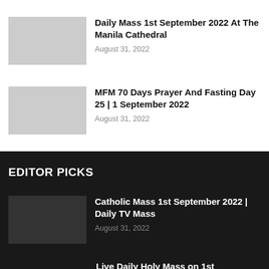Daily Mass 1st September 2022 At The Manila Cathedral
August 31, 2022
MFM 70 Days Prayer And Fasting Day 25 | 1 September 2022
August 31, 2022
EDITOR PICKS
Catholic Mass 1st September 2022 | Daily TV Mass
August 31, 2022